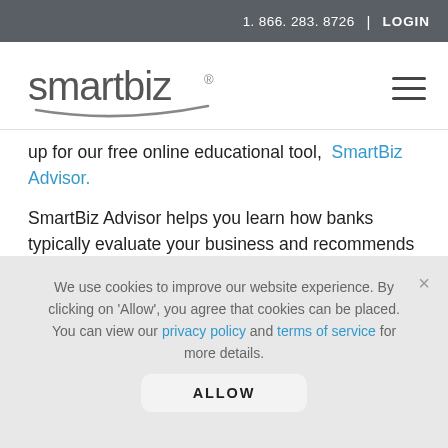1.866.283.8726  |  LOGIN
[Figure (logo): SmartBiz logo with stylized text and swoosh underline]
up for our free online educational tool, SmartBiz Advisor.
SmartBiz Advisor helps you learn how banks typically evaluate your business and recommends ways to help
We use cookies to improve our website experience. By clicking on 'Allow', you agree that cookies can be placed. You can view our privacy policy and terms of service for more details.
ALLOW